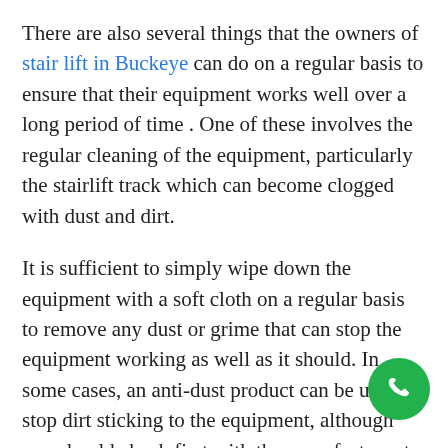There are also several things that the owners of stair lift in Buckeye can do on a regular basis to ensure that their equipment works well over a long period of time . One of these involves the regular cleaning of the equipment, particularly the stairlift track which can become clogged with dust and dirt.
It is sufficient to simply wipe down the equipment with a soft cloth on a regular basis to remove any dust or grime that can stop the equipment working as well as it should. In some cases, an anti-dust product can be used to stop dirt sticking to the equipment, although you should check first with the manufacturer to see if your product is safe to use on the device.
[Figure (other): Green circular phone/call button icon in the bottom-right corner]